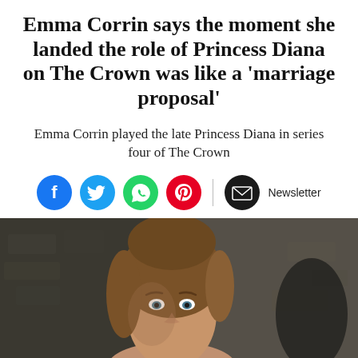Emma Corrin says the moment she landed the role of Princess Diana on The Crown was like a 'marriage proposal'
Emma Corrin played the late Princess Diana in series four of The Crown
[Figure (other): Social media sharing icons: Facebook (blue), Twitter (blue), WhatsApp (green), Pinterest (red), Email/Newsletter (dark)]
[Figure (photo): Photo of Emma Corrin, a young woman with brown hair and blue eyes, photographed against a stone background]